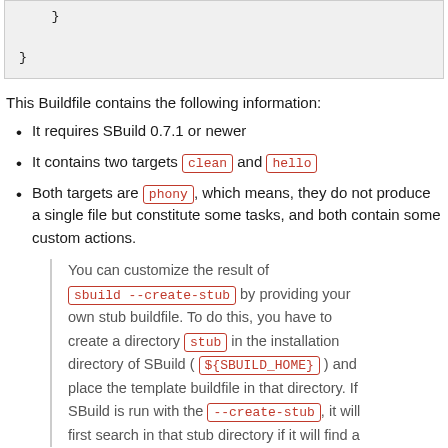}

}
This Buildfile contains the following information:
It requires SBuild 0.7.1 or newer
It contains two targets clean and hello
Both targets are phony, which means, they do not produce a single file but constitute some tasks, and both contain some custom actions.
You can customize the result of sbuild --create-stub by providing your own stub buildfile. To do this, you have to create a directory stub in the installation directory of SBuild ( ${SBUILD_HOME} ) and place the template buildfile in that directory. If SBuild is run with the --create-stub, it will first search in that stub directory if it will find a